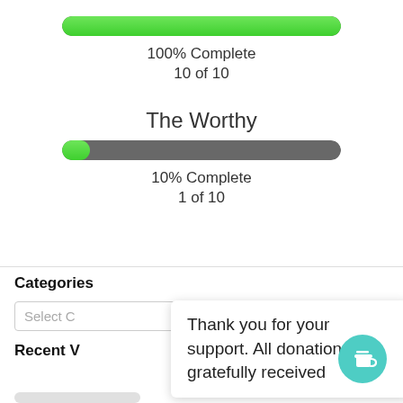[Figure (infographic): Green progress bar fully filled, labeled 100% Complete, 10 of 10]
100% Complete
10 of 10
The Worthy
[Figure (infographic): Gray progress bar with small green fill on left side (10%), labeled 10% Complete, 1 of 10]
10% Complete
1 of 10
Categories
Select C
Thank you for your support. All donations are gratefully received
Recent V